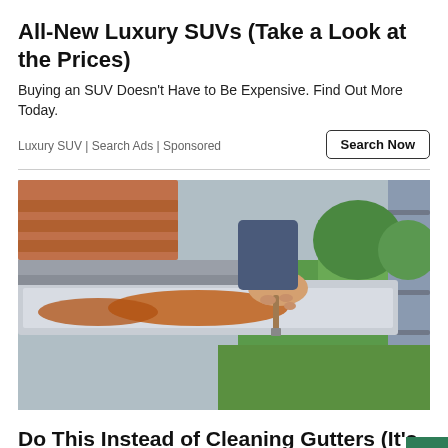All-New Luxury SUVs (Take a Look at the Prices)
Buying an SUV Doesn't Have to Be Expensive. Find Out More Today.
Luxury SUV | Search Ads | Sponsored
[Figure (photo): Person painting or applying sealant to a roof gutter while standing on a ladder, with green garden in background]
Do This Instead of Cleaning Gutters (It's Genius)